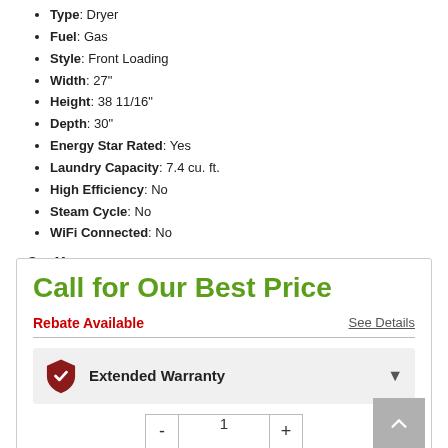Type: Dryer
Fuel: Gas
Style: Front Loading
Width: 27"
Height: 38 11/16"
Depth: 30"
Energy Star Rated: Yes
Laundry Capacity: 7.4 cu. ft.
High Efficiency: No
Steam Cycle: No
WiFi Connected: No
See More
Call for Our Best Price
Rebate Available
See Details
Extended Warranty
1